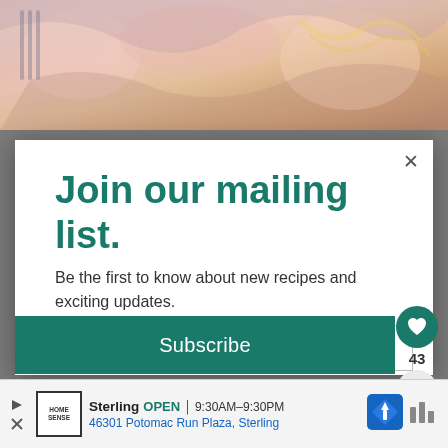[Figure (photo): Food photo background — close-up of colorful food items, pinkish/orange tones]
Join our mailing list.
Be the first to know about new recipes and exciting updates.
Email address
Subscribe
43
Sterling  OPEN  9:30AM–9:30PM
46301 Potomac Run Plaza, Sterling